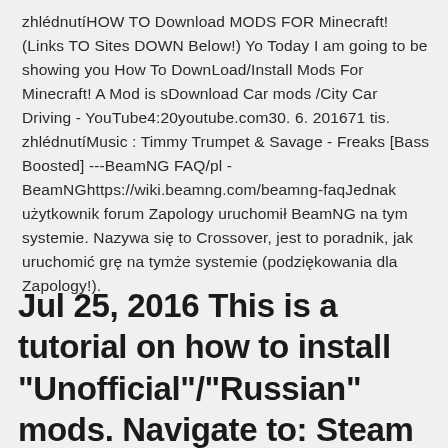zhlédnutíHOW TO Download MODS FOR Minecraft! (Links TO Sites DOWN Below!) Yo Today I am going to be showing you How To DownLoad/Install Mods For Minecraft! A Mod is sDownload Car mods /City Car Driving - YouTube4:20youtube.com30. 6. 201671 tis. zhlédnutíMusic : Timmy Trumpet & Savage - Freaks [Bass Boosted] ---BeamNG FAQ/pl - BeamNGhttps://wiki.beamng.com/beamng-faqJednak użytkownik forum Zapology uruchomił BeamNG na tym systemie. Nazywa się to Crossover, jest to poradnik, jak uruchomić grę na tymże systemie (podziękowania dla Zapology!).
Jul 25, 2016 This is a tutorial on how to install "Unofficial"/"Russian" mods. Navigate to: Steam > steamapps > BeamNG.drive >